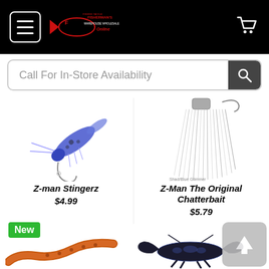Fisherman's Online - Menu and Cart navigation
Call For In-Store Availability
[Figure (photo): Z-man Stingerz fishing lure - blue/white soft plastic bait]
Z-man Stingerz
$4.99
[Figure (photo): Z-Man The Original Chatterbait - silver/white skirt lure labeled Shad/Blue Glimmer]
Z-Man The Original Chatterbait
$5.79
New
[Figure (photo): Orange/brown curved worm fishing lure]
[Figure (photo): Black/blue glitter craw fishing lure]